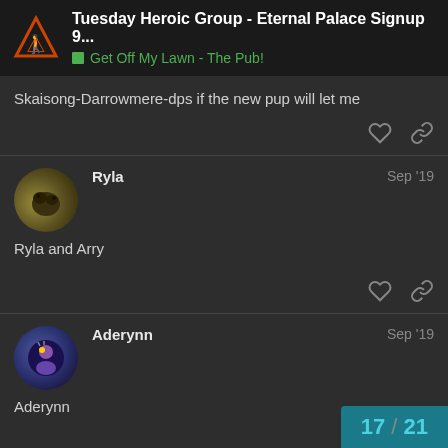Tuesday Heroic Group - Eternal Palace Signup 9... | Get Off My Lawn - The Pub!
Skaisong-Darrowmere-dps if the new pup will let me
Ryla  Sep '19
Ryla and Arry
Aderynn  Sep '19
Aderynn
17 / 21